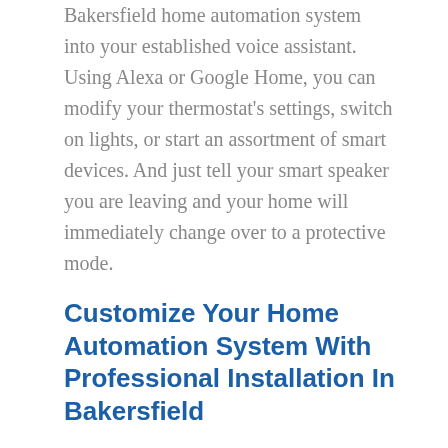Bakersfield home automation system into your established voice assistant. Using Alexa or Google Home, you can modify your thermostat's settings, switch on lights, or start an assortment of smart devices. And just tell your smart speaker you are leaving and your home will immediately change over to a protective mode.
Customize Your Home Automation System With Professional Installation In Bakersfield
To learn more about getting your home automation system customized to your preferences and precisely integrated into your home security system with ADT monitoring, just call (661) 231-